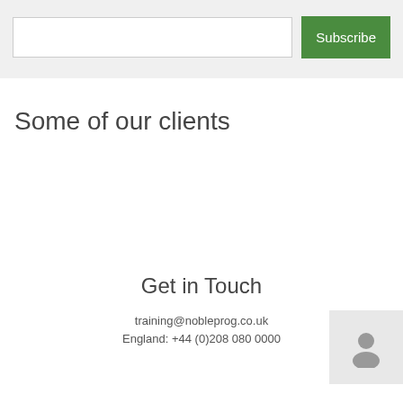[Figure (other): Email subscription input field and green Subscribe button on a light grey background]
Some of our clients
Get in Touch
training@nobleprog.co.uk
England: +44 (0)208 080 0000
[Figure (illustration): Grey user/person avatar icon in a light grey box]